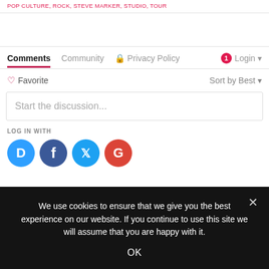POP CULTURE, ROCK, STEVE MARKER, STUDIO, TOUR
Comments  Community  Privacy Policy  Login
Favorite  Sort by Best
Start the discussion...
LOG IN WITH
[Figure (other): Social login icons: Disqus (blue D), Facebook (dark blue f), Twitter (light blue bird), Google (red G)]
We use cookies to ensure that we give you the best experience on our website. If you continue to use this site we will assume that you are happy with it.
OK